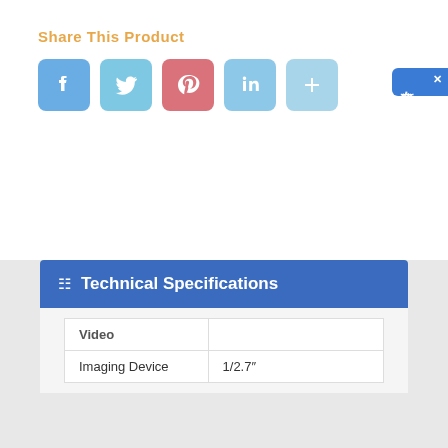Share This Product
[Figure (infographic): Social media sharing icons: Facebook (blue), Twitter (light blue), Pinterest (pink/red), LinkedIn (light blue), plus/more (light blue)]
[Figure (infographic): Chinese online chat widget button on right side showing 在线咨询 (online consultation)]
Technical Specifications
| Video |  |
| Imaging Device | 1/2.7" |